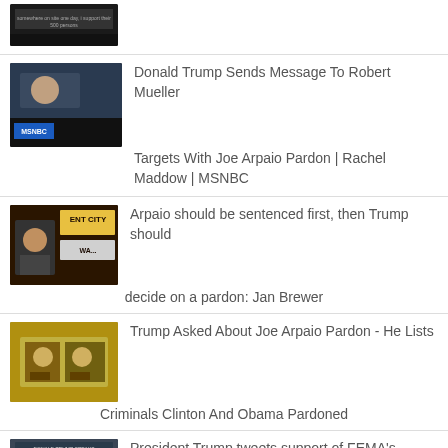[Figure (screenshot): Video thumbnail, partially visible at top]
Donald Trump Sends Message To Robert Mueller Targets With Joe Arpaio Pardon | Rachel Maddow | MSNBC
Arpaio should be sentenced first, then Trump should decide on a pardon: Jan Brewer
Trump Asked About Joe Arpaio Pardon - He Lists Criminals Clinton And Obama Pardoned
President Trump tweets support of FEMA's efforts during Hurricane Harvey